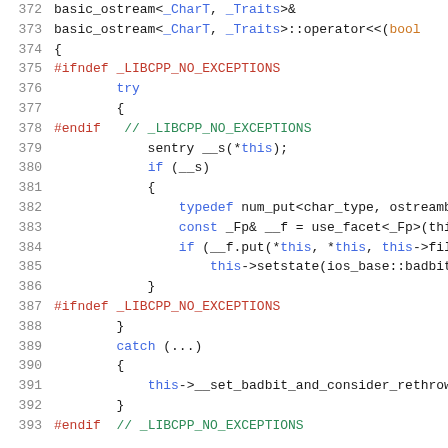[Figure (screenshot): C++ source code snippet showing lines 372-393 of a basic_ostream implementation with syntax highlighting. Lines include preprocessor directives (#ifndef, #endif), try/catch blocks, sentry usage, typedef, and method calls.]